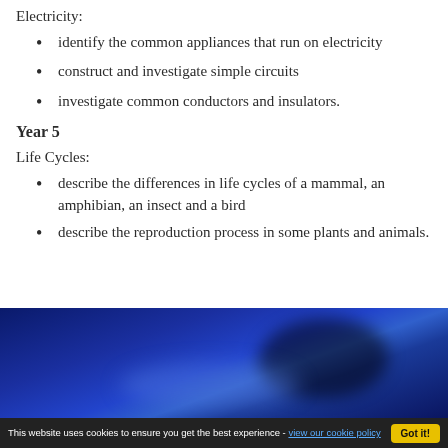Electricity:
identify the common appliances that run on electricity
construct and investigate simple circuits
investigate common conductors and insulators.
Year 5
Life Cycles:
describe the differences in life cycles of a mammal, an amphibian, an insect and a bird
describe the reproduction process in some plants and animals.
[Figure (photo): Close-up photo with dark blue tones, suggesting an animal or biological subject under blue lighting]
This website uses cookies to ensure you get the best experience - view our cookie policy   Got it!